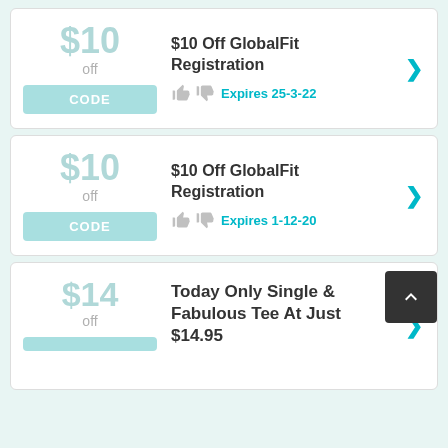$10 off | CODE | $10 Off GlobalFit Registration | Expires 25-3-22
$10 off | CODE | $10 Off GlobalFit Registration | Expires 1-12-20
$14 off | Today Only Single & Fabulous Tee At Just $14.95